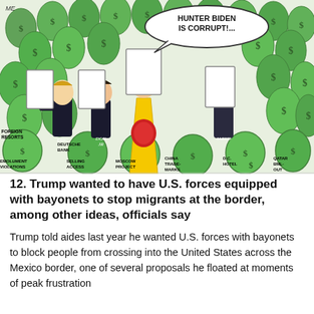[Figure (illustration): Political cartoon showing figures surrounded by green money bags labeled with various items. A speech bubble reads 'HUNTER BIDEN IS CORRUPT!...' Labels on money bags include: FOREIGN RESORTS, EMOLUMENT VIOLATIONS, DEUTSCHE BANK, SELLING ACCESS, MOSCOW PROJECT, CHINA TRADE-MARKS, D.C. HOTEL, QATAR BML-OUT. Figures labeled ERIC, DON JR, JARED are visible among the money bags. Artist signature 'ME' in top left corner.]
12. Trump wanted to have U.S. forces equipped with bayonets to stop migrants at the border, among other ideas, officials say
Trump told aides last year he wanted U.S. forces with bayonets to block people from crossing into the United States across the Mexico border, one of several proposals he floated at moments of peak frustration